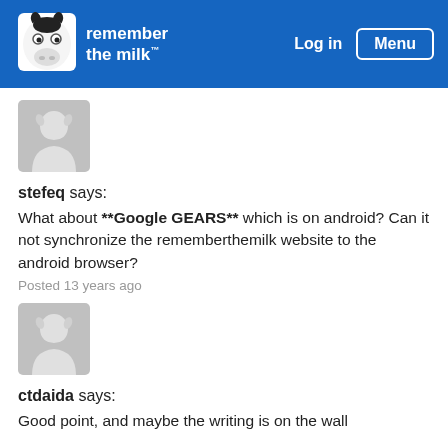remember the milk — Log in | Menu
[Figure (logo): Remember The Milk logo with cartoon cow head and text 'remember the milk']
[Figure (illustration): Gray avatar placeholder icon with cow/shirt silhouette]
stefeq says:
What about **Google GEARS** which is on android? Can it not synchronize the rememberthemilk website to the android browser?
Posted 13 years ago
[Figure (illustration): Gray avatar placeholder icon with cow/shirt silhouette]
ctdaida says:
Good point, and maybe the writing is on the wall